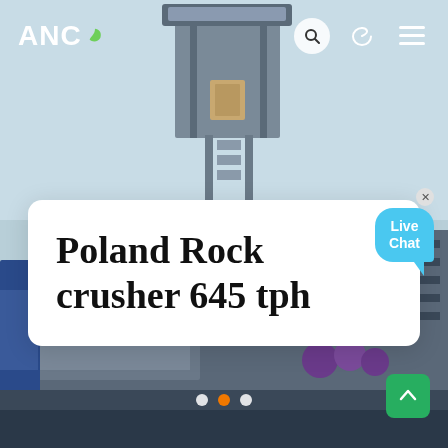[Figure (photo): Industrial rock crusher machinery with conveyor structures, metal framework, and equipment against a light blue sky background. Purple pipes and heavy machinery visible in lower portion.]
ANC
Poland Rock crusher 645 tph